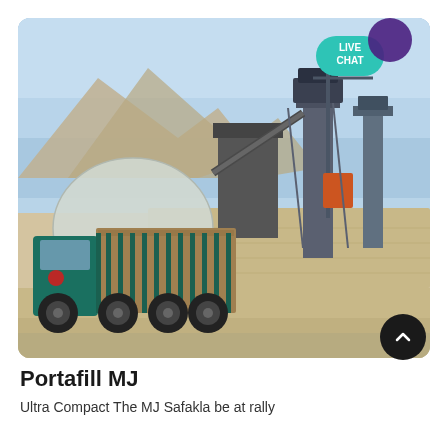[Figure (photo): Industrial quarry/cement plant site showing a teal/green dump truck loaded with aggregate material in the foreground, a large metallic dome structure behind it, and tall industrial processing towers and conveyors in the background. Rocky mountains visible in the distance under a clear blue sky. A 'LIVE CHAT' button overlay is visible in the top-right corner of the image.]
Portafill MJ
Ultra Compact The MJ Safakla be at rally